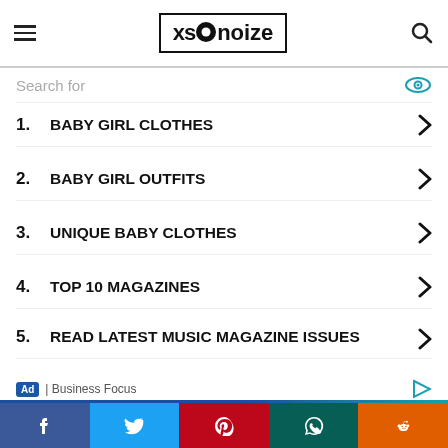xsnoize logo, hamburger menu, search icon
Search for
1. BABY GIRL CLOTHES
2. BABY GIRL OUTFITS
3. UNIQUE BABY CLOTHES
4. TOP 10 MAGAZINES
5. READ LATEST MUSIC MAGAZINE ISSUES
Ad | Business Focus
This website uses cookies.
Accept